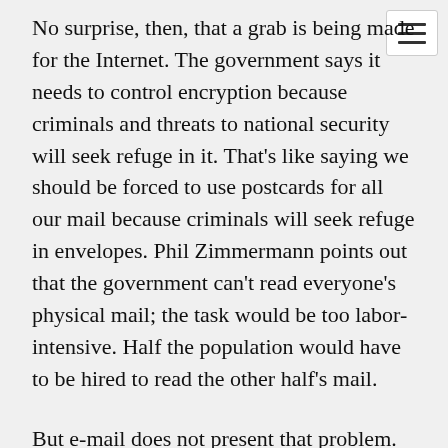No surprise, then, that a grab is being made for the Internet. The government says it needs to control encryption because criminals and threats to national security will seek refuge in it. That's like saying we should be forced to use postcards for all our mail because criminals will seek refuge in envelopes. Phil Zimmermann points out that the government can't read everyone's physical mail; the task would be too labor-intensive. Half the population would have to be hired to read the other half's mail.
But e-mail does not present that problem. The government's supercomputers could go trolling through the entire volume of e-mail searching for key words and names. The price of eavesdropping has